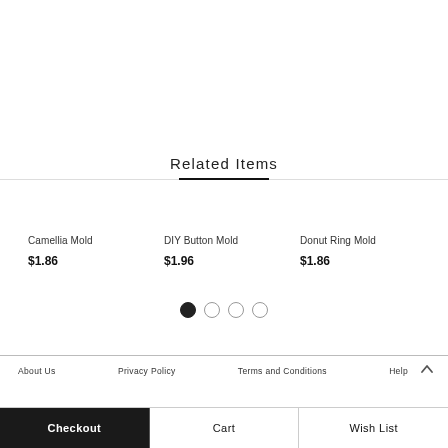Related Items
Camellia Mold
$1.86
DIY Button Mold
$1.96
Donut Ring Mold
$1.86
About Us    Privacy Policy    Terms and Conditions    Help
Checkout    Cart    Wish List